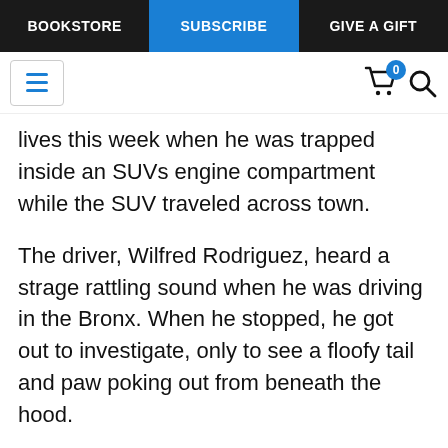BOOKSTORE | SUBSCRIBE | GIVE A GIFT
lives this week when he was trapped inside an SUVs engine compartment while the SUV traveled across town.
The driver, Wilfred Rodriguez, heard a strage rattling sound when he was driving in the Bronx. When he stopped, he got out to investigate, only to see a floofy tail and paw poking out from beneath the hood.